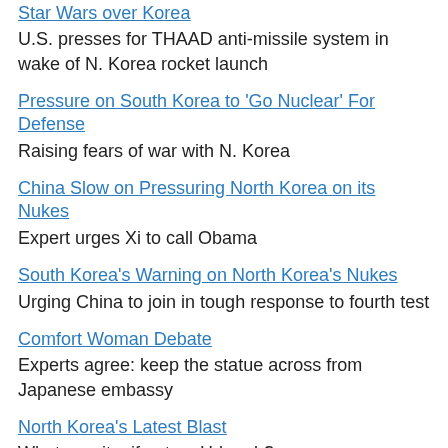Star Wars over Korea
U.S. presses for THAAD anti-missile system in wake of N. Korea rocket launch
Pressure on South Korea to 'Go Nuclear' For Defense
Raising fears of war with N. Korea
China Slow on Pressuring North Korea on its Nukes
Expert urges Xi to call Obama
South Korea's Warning on North Korea's Nukes
Urging China to join in tough response to fourth test
Comfort Woman Debate
Experts agree: keep the statue across from Japanese embassy
North Korea's Latest Blast
What was it – if not an H-bomb?
Stephen Bosworth, 1939-2016, 'Consummate' Diplomat
...